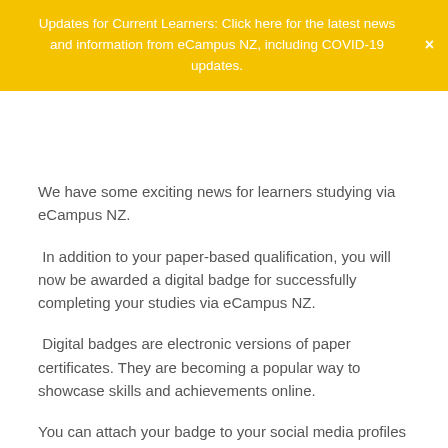Updates for Current Learners: Click here for the latest news and information from eCampus NZ, including COVID-19 updates.
We have some exciting news for learners studying via eCampus NZ.
In addition to your paper-based qualification, you will now be awarded a digital badge for successfully completing your studies via eCampus NZ.
Digital badges are electronic versions of paper certificates. They are becoming a popular way to showcase skills and achievements online.
You can attach your badge to your social media profiles (like LinkedIn), email signature, resume, website, and more. Potential